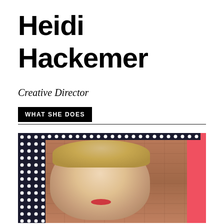Heidi Hackemer
Creative Director
WHAT SHE DOES
[Figure (photo): Professional headshot of Heidi Hackemer, a blonde woman with short hair, wearing dark clothing, photographed against a brick wall background. The photo is framed with a black polka dot border on the left and top, and a coral/red accent panel on the right.]